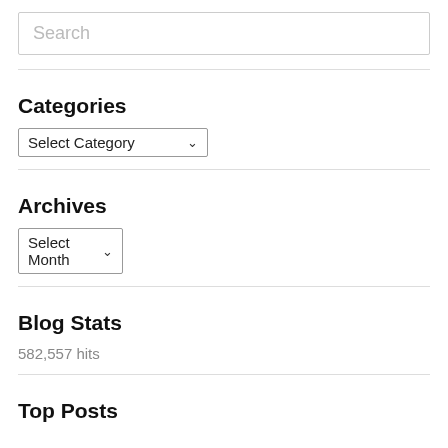Search
Categories
Select Category
Archives
Select Month
Blog Stats
582,557 hits
Top Posts